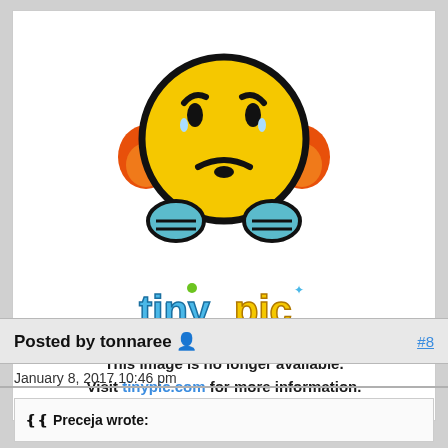[Figure (illustration): Tinypic 'image no longer available' placeholder showing a sad yellow emoji character with headphones and blue hands, with the 'tinypic' colorful logo below it]
This image is no longer available. Visit tinypic.com for more information.
Posted by tonnaree 👤  #8
January 8, 2017 10:46 pm
❝ Preceja wrote: